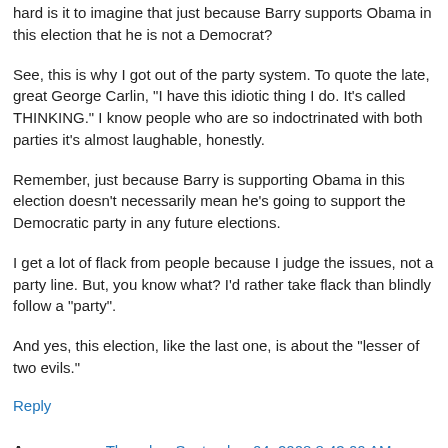hard is it to imagine that just because Barry supports Obama in this election that he is not a Democrat?
See, this is why I got out of the party system. To quote the late, great George Carlin, "I have this idiotic thing I do. It's called THINKING." I know people who are so indoctrinated with both parties it's almost laughable, honestly.
Remember, just because Barry is supporting Obama in this election doesn't necessarily mean he's going to support the Democratic party in any future elections.
I get a lot of flack from people because I judge the issues, not a party line. But, you know what? I'd rather take flack than blindly follow a "party".
And yes, this election, like the last one, is about the "lesser of two evils."
Reply
Anonymous  Thursday, September 04, 2008 8:43:00 AM